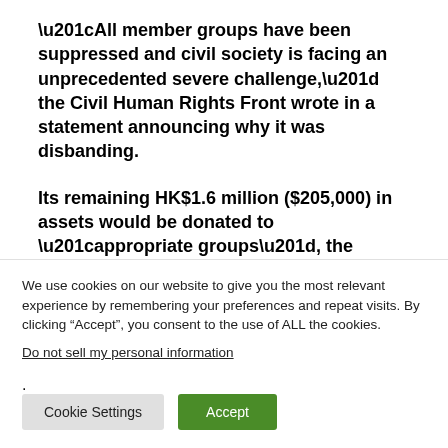“All member groups have been suppressed and civil society is facing an unprecedented severe challenge,” the Civil Human Rights Front wrote in a statement announcing why it was disbanding.
Its remaining HK$1.6 million ($205,000) in assets would be donated to “appropriate groups”, the statement added.
The 2019 protests began in response to a deeply unpopular
We use cookies on our website to give you the most relevant experience by remembering your preferences and repeat visits. By clicking “Accept”, you consent to the use of ALL the cookies.
Do not sell my personal information.